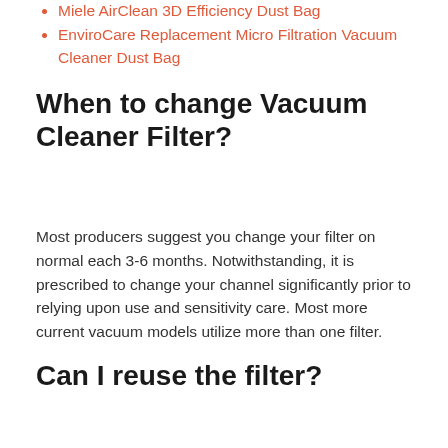Miele AirClean 3D Efficiency Dust Bag
EnviroCare Replacement Micro Filtration Vacuum Cleaner Dust Bag
When to change Vacuum Cleaner Filter?
Most producers suggest you change your filter on normal each 3-6 months. Notwithstanding, it is prescribed to change your channel significantly prior to relying upon use and sensitivity care. Most more current vacuum models utilize more than one filter.
Can I reuse the filter?